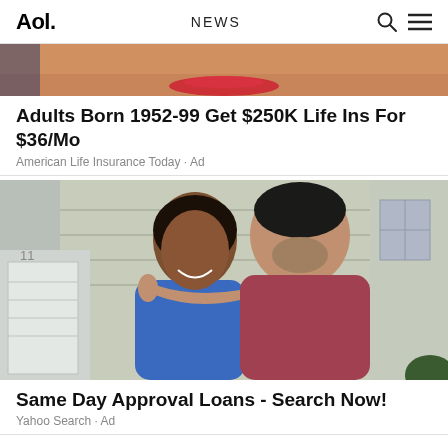Aol. NEWS
[Figure (photo): Partial image showing face close-up with red lips, orange/skin tones — top portion of a life insurance advertisement.]
Adults Born 1952-99 Get $250K Life Ins For $36/Mo
American Life Insurance Today · Ad
[Figure (photo): A smiling Black woman and a man kissing her cheek, embracing in front of a house with a garage door — same day approval loans advertisement image.]
Same Day Approval Loans - Search Now!
Yahoo Search · Ad